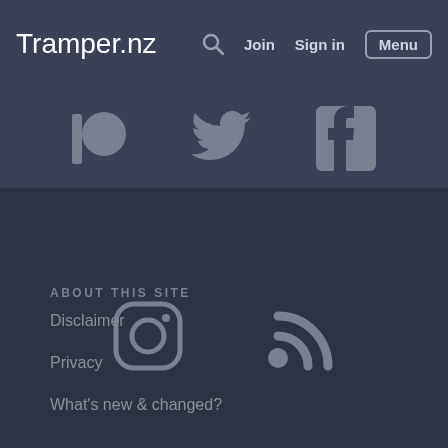Tramper.nz  Search  Join  Sign in  Menu
[Figure (illustration): Social media icons: Patreon, Twitter, Facebook in top bar area]
[Figure (illustration): Social media icons: Instagram and RSS feed in mid-page area]
ABOUT THIS SITE
Disclaimer
Privacy
What's new & changed?